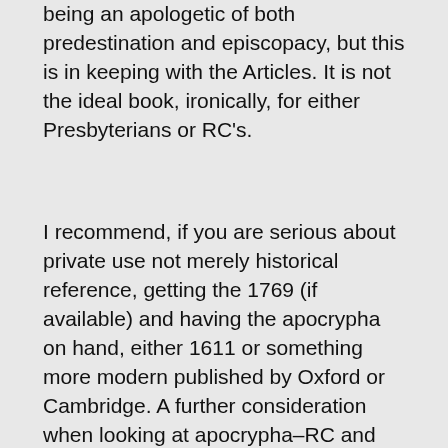being an apologetic of both predestination and episcopacy, but this is in keeping with the Articles. It is not the ideal book, ironically, for either Presbyterians or RC's.
I recommend, if you are serious about private use not merely historical reference, getting the 1769 (if available) and having the apocrypha on hand, either 1611 or something more modern published by Oxford or Cambridge. A further consideration when looking at apocrypha–RC and Anglican apocrypha books are not identical. Trent removed 1 & 2 Esdras and the Prayer of Manasses. So if you buy something that takes the deuterocanonical books, you might end up short. Make sure